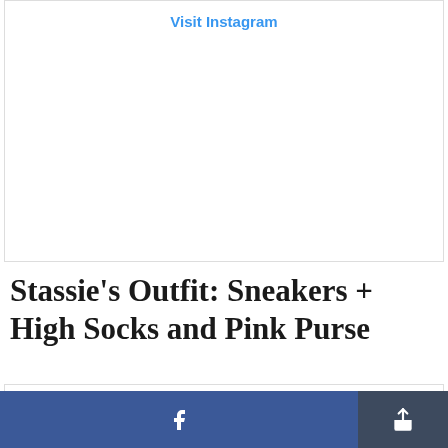Visit Instagram
Stassie's Outfit: Sneakers + High Socks and Pink Purse
staskaranikolaou  Milan, Italy
View profile